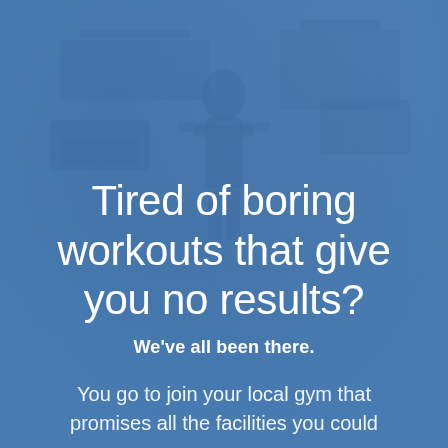[Figure (photo): Blue-tinted background photo of a gym interior with workout equipment, overlaid with a semi-transparent blue color wash creating a blurred gym atmosphere]
Tired of boring workouts that give you no results?
We've all been there.
You go to join your local gym that promises all the facilities you could